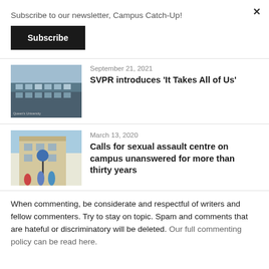Subscribe to our newsletter, Campus Catch-Up!
Subscribe
[Figure (photo): Photo of Queen's University building exterior]
September 21, 2021
SVPR introduces 'It Takes All of Us'
[Figure (illustration): Illustrated image of a campus building with students]
March 13, 2020
Calls for sexual assault centre on campus unanswered for more than thirty years
When commenting, be considerate and respectful of writers and fellow commenters. Try to stay on topic. Spam and comments that are hateful or discriminatory will be deleted. Our full commenting policy can be read here.